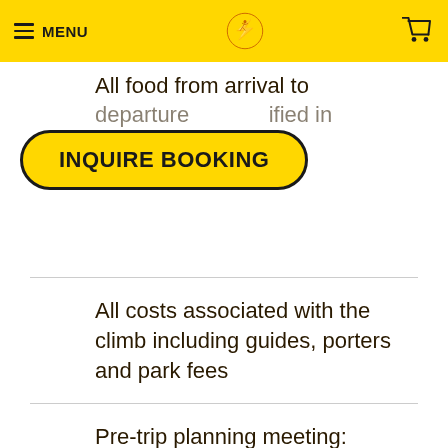MENU
All food from arrival to departure...specified in
INQUIRE BOOKING
All costs associated with the climb including guides, porters and park fees
Pre-trip planning meeting: we'll talk about personal training, equipment needed, personal hygiene on the trail etc.  in order to make your experience as smooth as possible